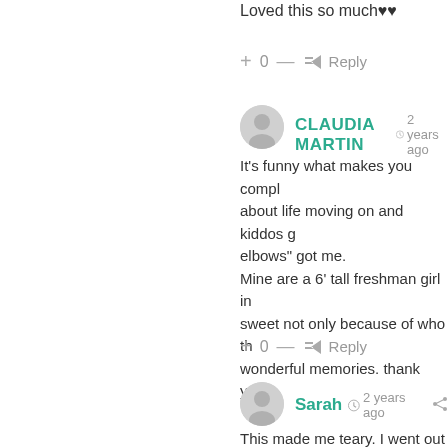Loved this so much♥♥
+ 0 — ↳ Reply
[Figure (illustration): Gray avatar icon for Claudia Martin]
CLAUDIA MARTIN  🕐 2 years ago
It's funny what makes you compl about life moving on and kiddos  elbows" got me.
Mine are a 6' tall freshman girl in sweet not only because of who th wonderful memories. thank you!
+ 0 — ↳ Reply
[Figure (illustration): Gray avatar icon for Sarah]
Sarah  🕐 2 years ago  ⬡
This made me teary. I went out tr